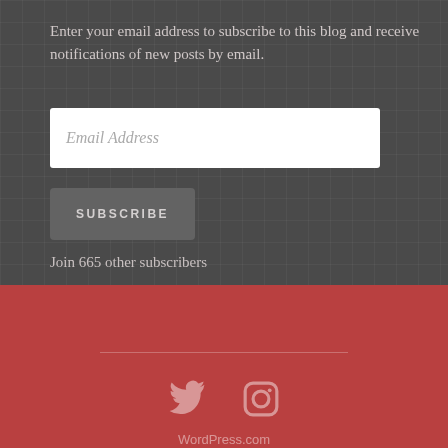Enter your email address to subscribe to this blog and receive notifications of new posts by email.
[Figure (screenshot): Email address input field with placeholder text 'Email Address']
[Figure (screenshot): Subscribe button with text 'SUBSCRIBE']
Join 665 other subscribers
[Figure (illustration): Horizontal divider line]
[Figure (logo): Twitter and Instagram social media icons]
WordPress.com